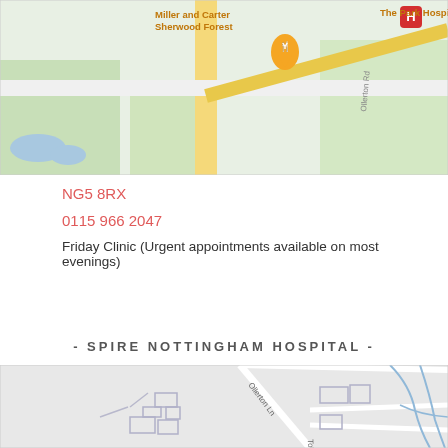[Figure (map): Google Maps screenshot showing The Park Hospital and Miller and Carter Sherwood Forest, with road Ollerton Rd visible]
NG5 8RX
0115 966 2047
Friday Clinic (Urgent appointments available on most evenings)
- SPIRE NOTTINGHAM HOSPITAL -
[Figure (map): Google Maps screenshot showing Ollerton Ln area near Spire Nottingham Hospital, light grey background with white roads and blue waterways]